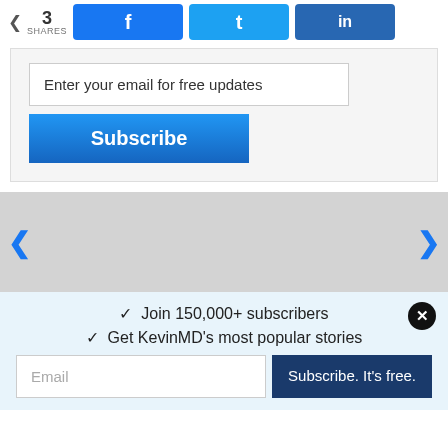[Figure (screenshot): Social share bar with share count (3 SHARES) and buttons for Facebook, Twitter, and LinkedIn]
Enter your email for free updates
Subscribe
[Figure (photo): Gray placeholder image carousel with left and right navigation arrows]
✓ Join 150,000+ subscribers
✓ Get KevinMD's most popular stories
Email
Subscribe. It's free.